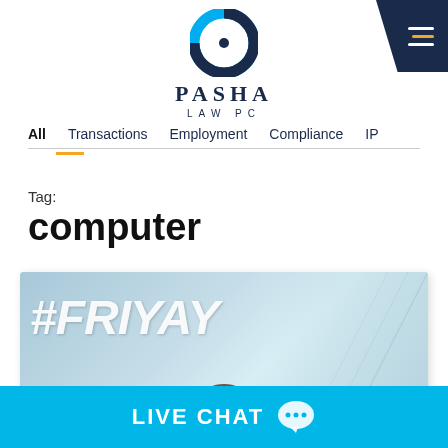[Figure (logo): Pasha Law PC logo — circular ring in cyan and dark navy blue, with PASHA text and LAW PC subtitle below]
[Figure (other): Dark navy blue diagonal hamburger menu button in top-right corner with three horizontal white lines (middle line accented orange)]
All   Transactions   Employment   Compliance   IP
Tag:
computer
[Figure (photo): Photo overlaid with large white italic bold text '#FRIYAY', showing a person from above in a corridor setting with light blue tones]
LIVE CHAT